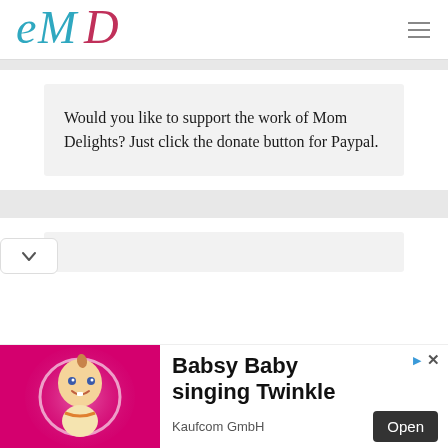[Figure (logo): Mom Delights cursive logo in teal and pink]
Would you like to support the work of Mom Delights? Just click the donate button for Paypal.
[Figure (other): Babsy Baby singing Twinkle advertisement with animated baby on pink background, Kaufcom GmbH]